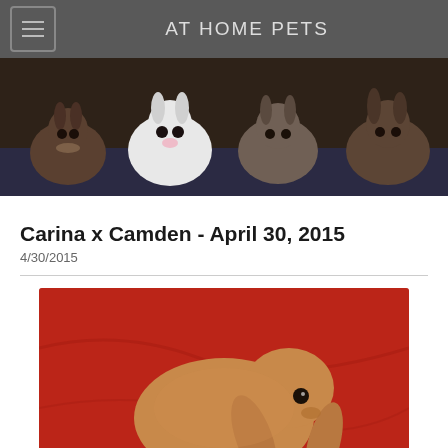AT HOME PETS
[Figure (photo): Banner photo showing four rabbits sitting together against a blue/dark background — one white rabbit in center flanked by darker brown/grey rabbits]
Carina x Camden - April 30, 2015
4/30/2015
[Figure (photo): Photo of a tan/orange lop-eared rabbit sitting on a red fabric background, facing slightly right with lop ears visible]